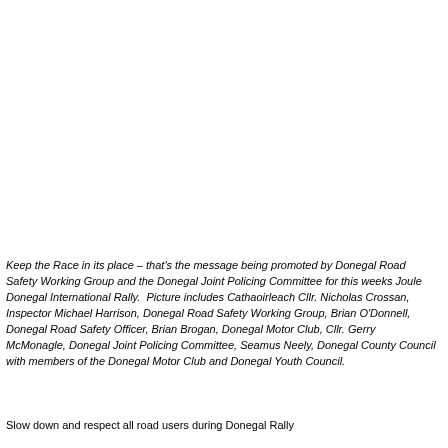[Figure (photo): Photograph area (blank/white in this rendering) showing people at a road safety event related to the Donegal International Rally.]
Keep the Race in its place – that's the message being promoted by Donegal Road Safety Working Group and the Donegal Joint Policing Committee for this weeks Joule Donegal International Rally.  Picture includes Cathaoirleach Cllr. Nicholas Crossan, Inspector Michael Harrison, Donegal Road Safety Working Group, Brian O'Donnell, Donegal Road Safety Officer, Brian Brogan, Donegal Motor Club, Cllr. Gerry McMonagle, Donegal Joint Policing Committee, Seamus Neely, Donegal County Council with members of the Donegal Motor Club and Donegal Youth Council.
Slow down and respect all road users during Donegal Rally